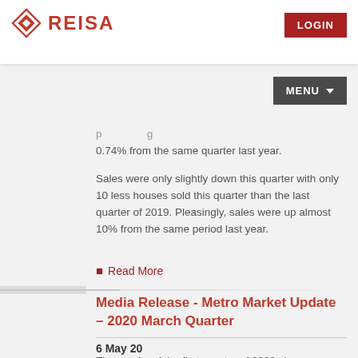REISA
0.74% from the same quarter last year.
Sales were only slightly down this quarter with only 10 less houses sold this quarter than the last quarter of 2019. Pleasingly, sales were up almost 10% from the same period last year.
Read More
Media Release - Metro Market Update – 2020 March Quarter
6 May 20
The results of the first quarter of 2020 show